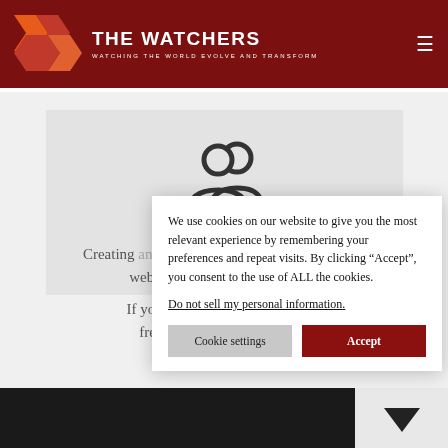THE WATCHERS — WATCHING THE WORLD EVOLVE AND TRANSFORM
[Figure (illustration): Users/group icon — two stylized human silhouettes outline in dark gray]
Creating an account on this website ta...
If you valu... free ac...
We use cookies on our website to give you the most relevant experience by remembering your preferences and repeat visits. By clicking “Accept”, you consent to the use of ALL the cookies. Do not sell my personal information.
Cookie settings | Accept